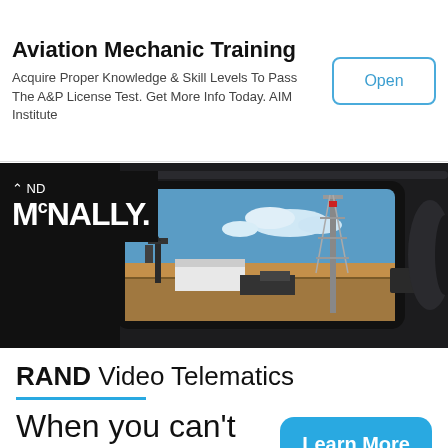Aviation Mechanic Training
Acquire Proper Knowledge & Skill Levels To Pass The A&P License Test. Get More Info Today. AIM Institute
[Figure (screenshot): Open button for Aviation Mechanic Training ad]
[Figure (photo): Rand McNally advertisement showing a camera device with an oil field scene on its screen. The Rand McNally logo is overlaid in the upper left. Below reads RAND Video Telematics with a blue underline. Tagline: When you can't be in the field. with a blue dot. A cyan Learn More button is on the right.]
RAND Video Telematics
When you can't be in the field.